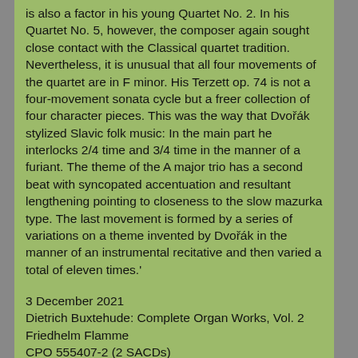is also a factor in his young Quartet No. 2. In his Quartet No. 5, however, the composer again sought close contact with the Classical quartet tradition. Nevertheless, it is unusual that all four movements of the quartet are in F minor. His Terzett op. 74 is not a four-movement sonata cycle but a freer collection of four character pieces. This was the way that Dvořák stylized Slavic folk music: In the main part he interlocks 2/4 time and 3/4 time in the manner of a furiant. The theme of the A major trio has a second beat with syncopated accentuation and resultant lengthening pointing to closeness to the slow mazurka type. The last movement is formed by a series of variations on a theme invented by Dvořák in the manner of an instrumental recitative and then varied a total of eleven times.'
3 December 2021
Dietrich Buxtehude: Complete Organ Works, Vol. 2
Friedhelm Flamme
CPO 555407-2 (2 SACDs)
The first CD of Vol. 2 of Dietrich Buxtehude's organ works focuses on chorale settings in combination